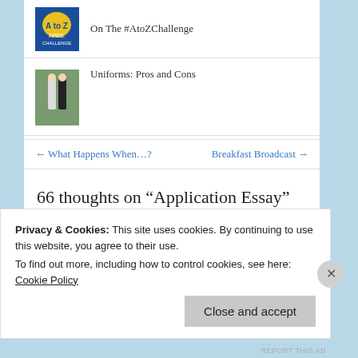On The #AtoZChallenge
Uniforms: Pros and Cons
← What Happens When…?    Breakfast Broadcast →
66 thoughts on “Application Essay”
Privacy & Cookies: This site uses cookies. By continuing to use this website, you agree to their use.
To find out more, including how to control cookies, see here: Cookie Policy
Close and accept